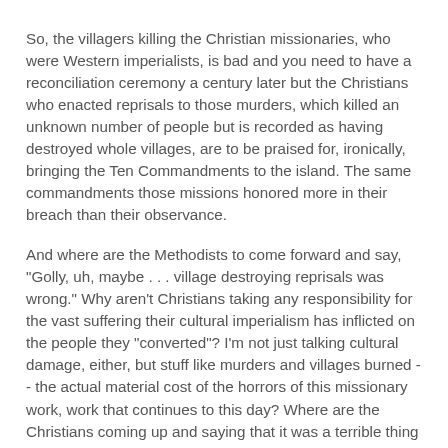So, the villagers killing the Christian missionaries, who were Western imperialists, is bad and you need to have a reconciliation ceremony a century later but the Christians who enacted reprisals to those murders, which killed an unknown number of people but is recorded as having destroyed whole villages, are to be praised for, ironically, bringing the Ten Commandments to the island. The same commandments those missions honored more in their breach than their observance.
And where are the Methodists to come forward and say, "Golly, uh, maybe . . . village destroying reprisals was wrong." Why aren't Christians taking any responsibility for the vast suffering their cultural imperialism has inflicted on the people they "converted"? I'm not just talking cultural damage, either, but stuff like murders and villages burned -- the actual material cost of the horrors of this missionary work, work that continues to this day? Where are the Christians coming up and saying that it was a terrible thing what their ancestors did, that the work was attended with